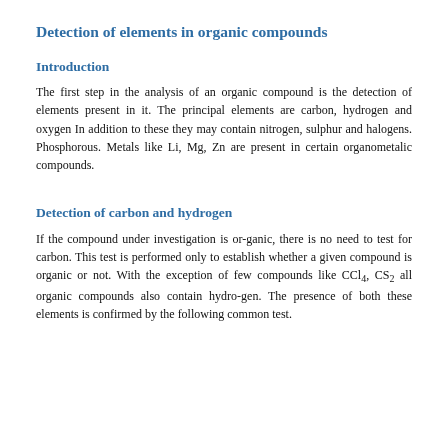Detection of elements in organic compounds
Introduction
The first step in the analysis of an organic compound is the detection of elements present in it. The principal elements are carbon, hydrogen and oxygen In addition to these they may contain nitrogen, sulphur and halogens. Phosphorous. Metals like Li, Mg, Zn are present in certain organometalic compounds.
Detection of carbon and hydrogen
If the compound under investigation is or-ganic, there is no need to test for carbon. This test is performed only to establish whether a given compound is organic or not. With the exception of few compounds like CCl4, CS2 all organic compounds also contain hydro-gen. The presence of both these elements is confirmed by the following common test.